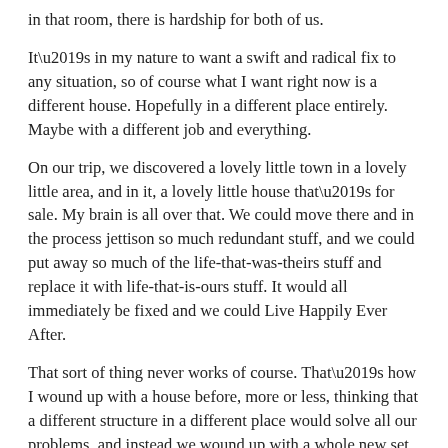in that room, there is hardship for both of us.
It’s in my nature to want a swift and radical fix to any situation, so of course what I want right now is a different house. Hopefully in a different place entirely. Maybe with a different job and everything.
On our trip, we discovered a lovely little town in a lovely little area, and in it, a lovely little house that’s for sale. My brain is all over that. We could move there and in the process jettison so much redundant stuff, and we could put away so much of the life-that-was-theirs stuff and replace it with life-that-is-ours stuff. It would all immediately be fixed and we could Live Happily Ever After.
That sort of thing never works of course. That’s how I wound up with a house before, more or less, thinking that a different structure in a different place would solve all our problems, and instead we wound up with a whole new set of problems along with several of the old.
Then I remember a thing that went right. I accepted that my HP might never let me move away from the place I hated to live. So I had to find some way to accept that place and be happy with